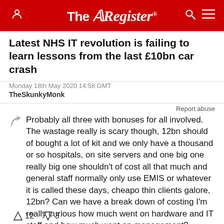The Register
Latest NHS IT revolution is failing to learn lessons from the last £10bn car crash
Monday 18th May 2020 14:58 GMT
TheSkunkyMonk
Report abuse
Probably all three with bonuses for all involved. The wastage really is scary though, 12bn should of bought a lot of kit and we only have a thousand or so hospitals, on site servers and one big one really big one shouldn't of cost all that much and general staff normally only use EMIS or whatever it is called these days, cheapo thin clients galore, 12bn? Can we have a break down of costing I'm really curious how much went on hardware and IT staff and how much went on management?
↑12  ↓3